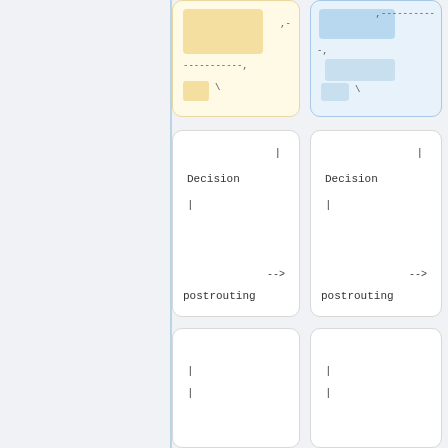[Figure (flowchart): Network routing flowchart diagram showing cards with colored blocks (yellow and blue), decision nodes, postrouting labels, pipe symbols, dashed lines, and arrows arranged in a 2-column layout.]